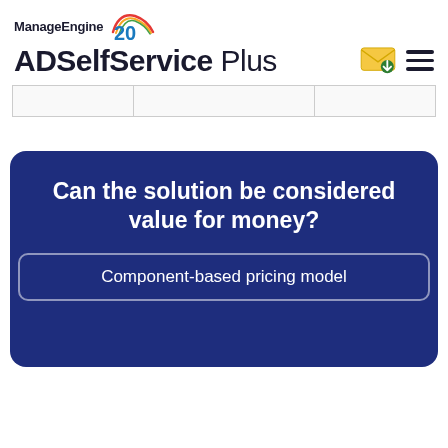ManageEngine 20 YEARS ADSelfService Plus
|  |  |  |
| --- | --- | --- |
|  |
Can the solution be considered value for money?
Component-based pricing model